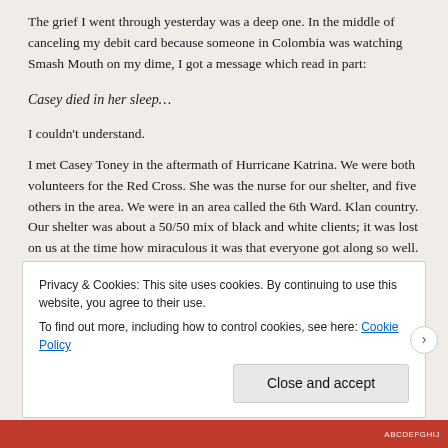The grief I went through yesterday was a deep one. In the middle of canceling my debit card because someone in Colombia was watching Smash Mouth on my dime, I got a message which read in part:
Casey died in her sleep…
I couldn't understand.
I met Casey Toney in the aftermath of Hurricane Katrina. We were both volunteers for the Red Cross. She was the nurse for our shelter, and five others in the area. We were in an area called the 6th Ward. Klan country. Our shelter was about a 50/50 mix of black and white clients; it was lost on us at the time how miraculous it was that everyone got along so well.
Privacy & Cookies: This site uses cookies. By continuing to use this website, you agree to their use. To find out more, including how to control cookies, see here: Cookie Policy
Close and accept